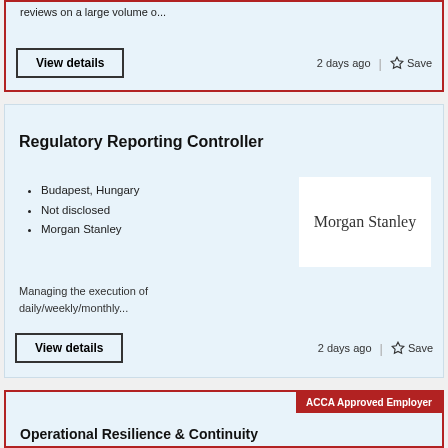reviews on a large volume o...
2 days ago   Save
Regulatory Reporting Controller
Budapest, Hungary
Not disclosed
Morgan Stanley
[Figure (logo): Morgan Stanley company logo]
Managing the execution of daily/weekly/monthly...
2 days ago   Save
ACCA Approved Employer
Operational Resilience & Continuity